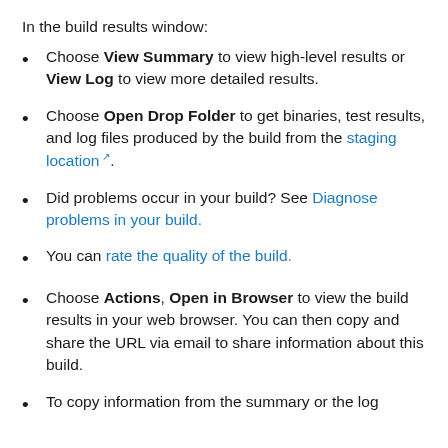In the build results window:
Choose View Summary to view high-level results or View Log to view more detailed results.
Choose Open Drop Folder to get binaries, test results, and log files produced by the build from the staging location ↗.
Did problems occur in your build? See Diagnose problems in your build.
You can rate the quality of the build.
Choose Actions, Open in Browser to view the build results in your web browser. You can then copy and share the URL via email to share information about this build.
To copy information from the summary or the log